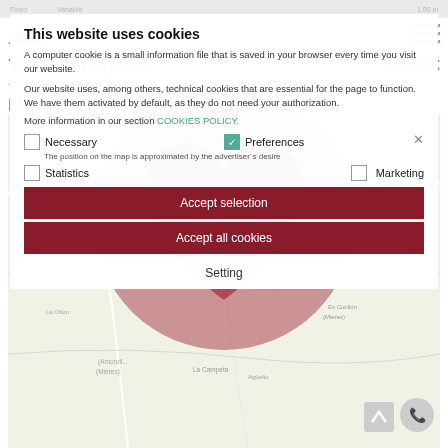[Figure (screenshot): Website screenshot showing Norkasa logo, monthly fee header, map area, and cookie consent dialog overlay with red circle/heart decoration]
This website uses cookies
A computer cookie is a small information file that is saved in your browser every time you visit our website.
Our website uses, among others, technical cookies that are essential for the page to function. We have them activated by default, as they do not need your authorization.
More information in our section COOKIES POLICY.
Your monthly fee
50,68 €
These results are indicative, calculated with the numbers you have entered.
Map
Necessary
Preferences
The position on the map is approximated by the advertiser´s desire
Statistics
Marketing
Accept selection
Accept all cookies
Setting